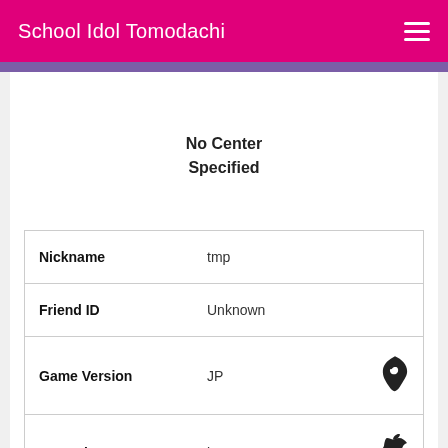School Idol Tomodachi
No Center Specified
|  |  |  |
| --- | --- | --- |
| Nickname | tmp |  |
| Friend ID | Unknown |  |
| Game Version | JP | [Japan icon] |
| Operating System | iOs | [Apple icon] |
| Significant Cards | 0 SR, 0 SSR and 0 UR |  |